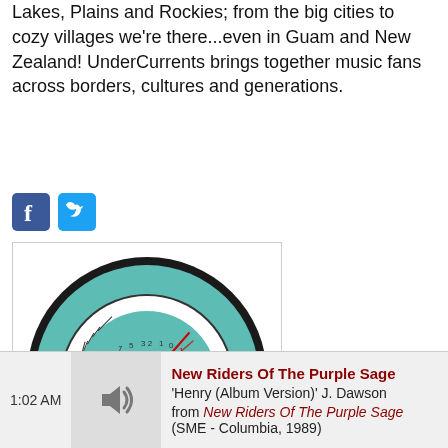Lakes, Plains and Rockies; from the big cities to cozy villages we're there...even in Guam and New Zealand! UnderCurrents brings together music fans across borders, cultures and generations.
[Figure (logo): UnderCurrents Radio logo — a teal circular VU meter dial with needle pointing near maximum, with text 'UnderCurrents RADIO' and 'WARM COOL' with a knob icon.]
1:02 AM  New Riders Of The Purple Sage  'Henry (Album Version)' J. Dawson  from New Riders Of The Purple Sage (SME - Columbia, 1989)